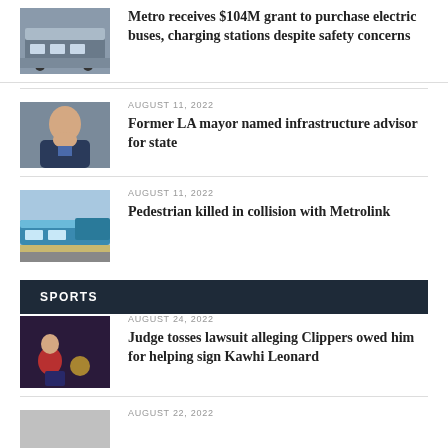[Figure (photo): Bus photo thumbnail]
Metro receives $104M grant to purchase electric buses, charging stations despite safety concerns
[Figure (photo): Former LA Mayor headshot]
AUGUST 11, 2022
Former LA mayor named infrastructure advisor for state
[Figure (photo): Metrolink train photo]
AUGUST 11, 2022
Pedestrian killed in collision with Metrolink
SPORTS
[Figure (photo): Basketball player photo]
AUGUST 24, 2022
Judge tosses lawsuit alleging Clippers owed him for helping sign Kawhi Leonard
[Figure (photo): Sports photo thumbnail]
AUGUST 22, 2022